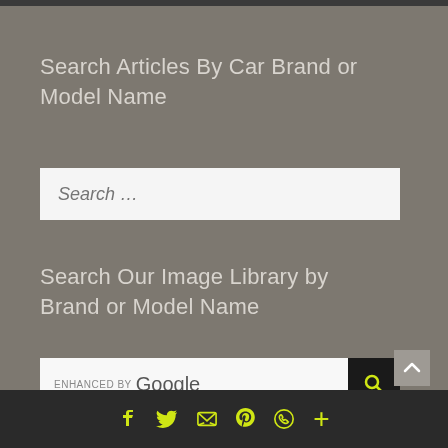Search Articles By Car Brand or Model Name
[Figure (screenshot): Search input box with placeholder text 'Search ...']
Search Our Image Library by Brand or Model Name
[Figure (screenshot): Google enhanced search bar with search button]
Social icons: Facebook, Twitter, Email, Pinterest, WhatsApp, Plus